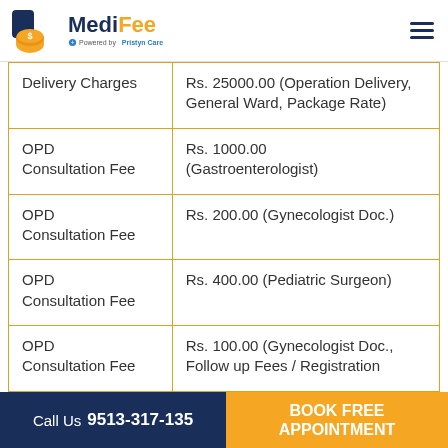MediFee - Powered by Pristyn Care
| Service | Fee |
| --- | --- |
| Delivery Charges | Rs. 25000.00 (Operation Delivery, General Ward, Package Rate) |
| OPD Consultation Fee | Rs. 1000.00 (Gastroenterologist) |
| OPD Consultation Fee | Rs. 200.00 (Gynecologist Doc.) |
| OPD Consultation Fee | Rs. 400.00 (Pediatric Surgeon) |
| OPD Consultation Fee | Rs. 100.00 (Gynecologist Doc., Follow up Fees / Registration ...) |
Call Us 9513-317-135 | BOOK FREE APPOINTMENT